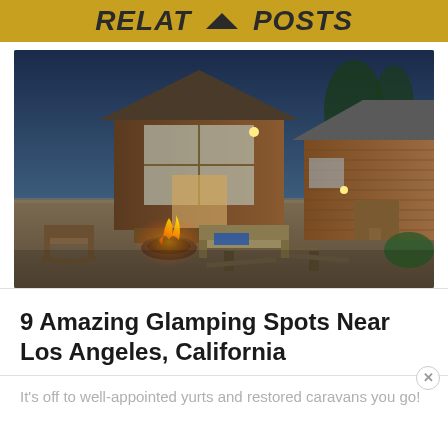Related Posts
[Figure (photo): Two small wooden cabin structures with a patio area featuring a fire pit, bench, and picnic table with wine glasses and bottles. Evening lighting with warm glow from cabin windows.]
9 Amazing Glamping Spots Near Los Angeles, California
It's off to well-appointed yurts and restored caravans you go!